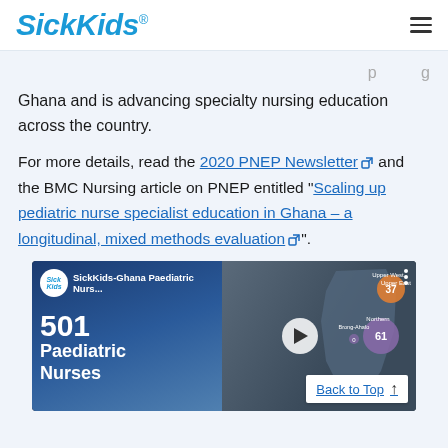SickKids
Ghana and is advancing specialty nursing education across the country.
For more details, read the 2020 PNEP Newsletter and the BMC Nursing article on PNEP entitled “Scaling up pediatric nurse specialist education in Ghana – a longitudinal, mixed methods evaluation”.
[Figure (screenshot): Video thumbnail showing SickKids-Ghana Paediatric Nursing Education Program with 501 Paediatric Nurses statistic on left, person in suit on right, and a map of Ghana with bubble markers. A play button is centered on the right portion.]